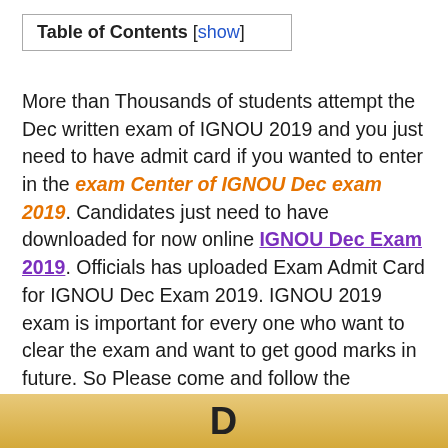Table of Contents [show]
More than Thousands of students attempt the Dec written exam of IGNOU 2019 and you just need to have admit card if you wanted to enter in the exam Center of IGNOU Dec exam 2019. Candidates just need to have downloaded for now online IGNOU Dec Exam 2019. Officials has uploaded Exam Admit Card for IGNOU Dec Exam 2019. IGNOU 2019 exam is important for every one who want to clear the exam and want to get good marks in future. So Please come and follow the instruction to take admission.
[Figure (other): Orange/yellow banner at the bottom with bold text beginning with 'D']